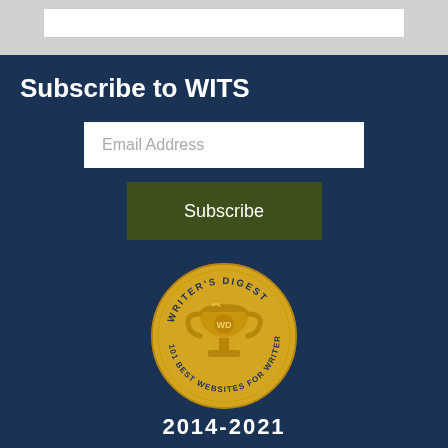Subscribe to WITS
Email Address
Subscribe
[Figure (illustration): Writer's Digest gold medal badge: '101 Best Websites for Writers']
2014-2021